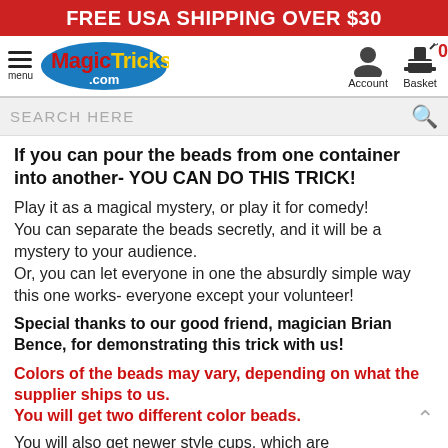FREE USA SHIPPING OVER $30
[Figure (logo): MagicTricks.com logo on blue oval background with hamburger menu and account/basket icons]
SEARCH HERE
If you can pour the beads from one container into another- YOU CAN DO THIS TRICK!
Play it as a magical mystery, or play it for comedy! You can separate the beads secretly, and it will be a mystery to your audience.
Or, you can let everyone in one the absurdly simple way this one works- everyone except your volunteer!
Special thanks to our good friend, magician Brian Bence, for demonstrating this trick with us!
Colors of the beads may vary, depending on what the supplier ships to us.
You will get two different color beads.
You will also get newer style cups, which are